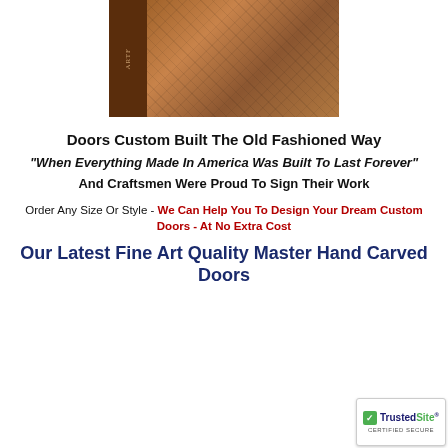[Figure (photo): Artisan carved wooden door with ornate relief carvings, shown with dark left panel bearing brand logo]
Doors Custom Built The Old Fashioned Way
"When Everything Made In America Was Built To Last Forever" And Craftsmen Were Proud To Sign Their Work
Order Any Size Or Style - We Can Help You To Design Your Dream Custom Doors - At No Extra Cost
Our Latest Fine Art Quality Master Hand Carved Doors
[Figure (logo): TrustedSite Certified Secure badge]